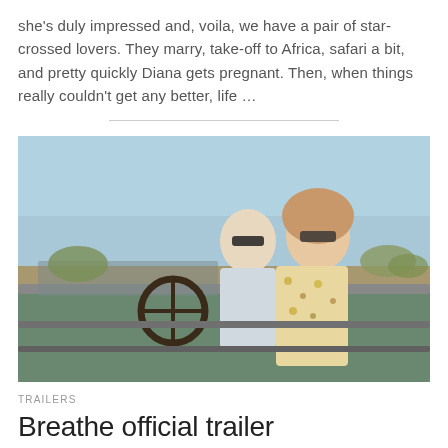she's duly impressed and, voila, we have a pair of star-crossed lovers. They marry, take-off to Africa, safari a bit, and pretty quickly Diana gets pregnant. Then, when things really couldn't get any better, life …
[Figure (photo): A man in a white shirt and sunglasses driving an open-top safari vehicle, with a woman in a floral dress sitting beside him, smiling, set in an African savanna landscape.]
TRAILERS
Breathe official trailer